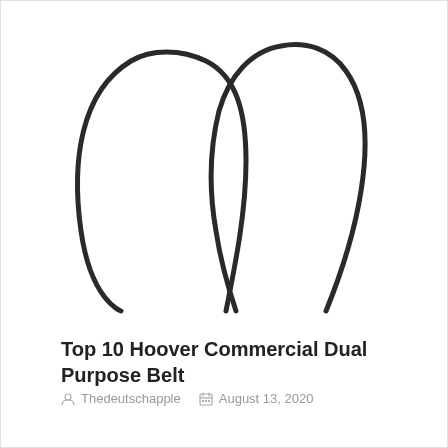[Figure (illustration): Two dark curved belt-like shapes (vacuum cleaner belts) shown side by side, each forming an arch/loop shape against a white background.]
Top 10 Hoover Commercial Dual Purpose Belt
Thedeutschapple   August 13, 2020